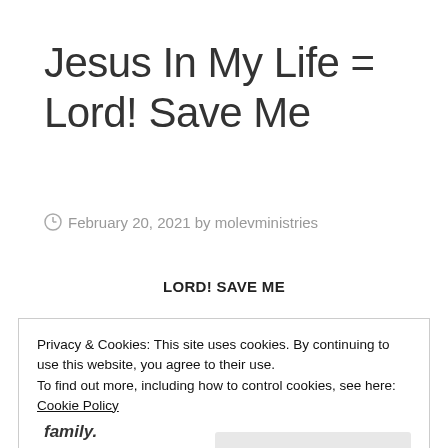Jesus In My Life = Lord! Save Me
February 20, 2021 by molevministries
LORD! SAVE ME
Privacy & Cookies: This site uses cookies. By continuing to use this website, you agree to their use.
To find out more, including how to control cookies, see here: Cookie Policy
Close and accept
family.